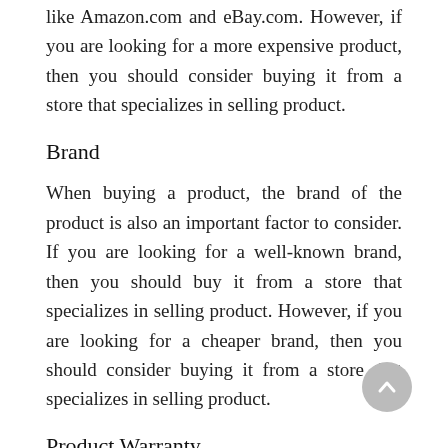like Amazon.com and eBay.com. However, if you are looking for a more expensive product, then you should consider buying it from a store that specializes in selling product.
Brand
When buying a product, the brand of the product is also an important factor to consider. If you are looking for a well-known brand, then you should buy it from a store that specializes in selling product. However, if you are looking for a cheaper brand, then you should consider buying it from a store that specializes in selling product.
Product Warranty
When you buy a product, you should also